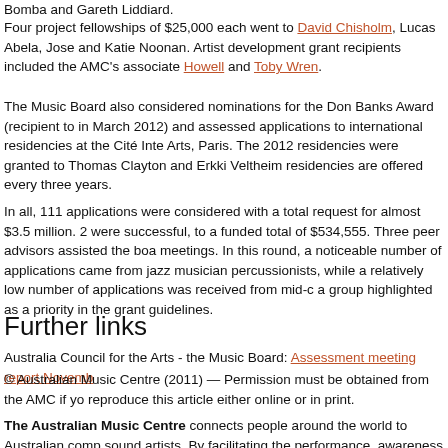Bomba and Gareth Liddiard.
Four project fellowships of $25,000 each went to David Chisholm, Lucas Abela, Jose and Katie Noonan. Artist development grant recipients included the AMC's associate Howell and Toby Wren.
The Music Board also considered nominations for the Don Banks Award (recipient to in March 2012) and assessed applications to international residencies at the Cité Inte Arts, Paris. The 2012 residencies were granted to Thomas Clayton and Erkki Veltheim residencies are offered every three years.
In all, 111 applications were considered with a total request for almost $3.5 million. 2 were successful, to a funded total of $534,555. Three peer advisors assisted the boa meetings. In this round, a noticeable number of applications came from jazz musicians percussionists, while a relatively low number of applications was received from mid-c a group highlighted as a priority in the grant guidelines.
Further links
Australia Council for the Arts - the Music Board: Assessment meeting report Novemb
© Australian Music Centre (2011) — Permission must be obtained from the AMC if yo reproduce this article either online or in print.
The Australian Music Centre connects people around the world to Australian comp sound artists. By facilitating the performance, awareness and appreciation of music b creative artists, it aims to increase their profile and the sustainability of their art form